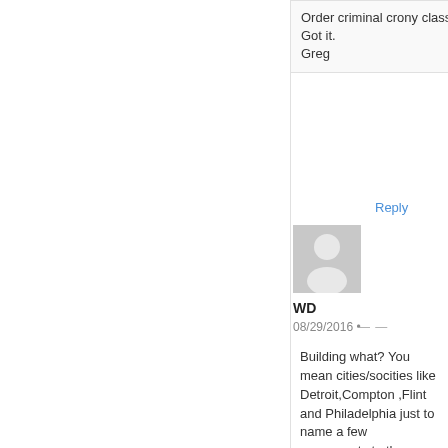Order criminal crony class. Got it.
Greg
Reply
[Figure (illustration): Default user avatar placeholder — grey silhouette of a person on light grey background]
WD
08/29/2016 •
Building what? You mean cities/socities like Detroit,Compton ,Flint and Philadelphia just to name a few monuments to the Democratic party!!